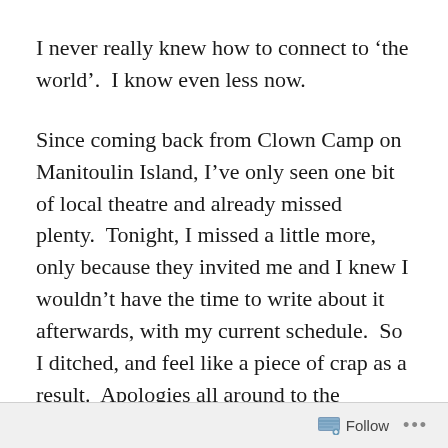I never really knew how to connect to ‘the world’.  I know even less now.
Since coming back from Clown Camp on Manitoulin Island, I’ve only seen one bit of local theatre and already missed plenty.  Tonight, I missed a little more, only because they invited me and I knew I wouldn’t have the time to write about it afterwards, with my current schedule.  So I ditched, and feel like a piece of crap as a result.  Apologies all around to the OTTAWA IMPROV FESTIVAL, I’m the worse for missing
Follow ...